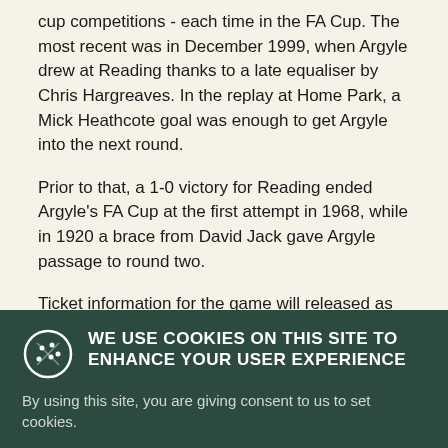cup competitions - each time in the FA Cup. The most recent was in December 1999, when Argyle drew at Reading thanks to a late equaliser by Chris Hargreaves. In the replay at Home Park, a Mick Heathcote goal was enough to get Argyle into the next round.
Prior to that, a 1-0 victory for Reading ended Argyle's FA Cup at the first attempt in 1968, while in 1920 a brace from David Jack gave Argyle passage to round two.
Ticket information for the game will released as soon as we have it.
WE USE COOKIES ON THIS SITE TO ENHANCE YOUR USER EXPERIENCE
By using this site, you are giving consent to us to set cookies.